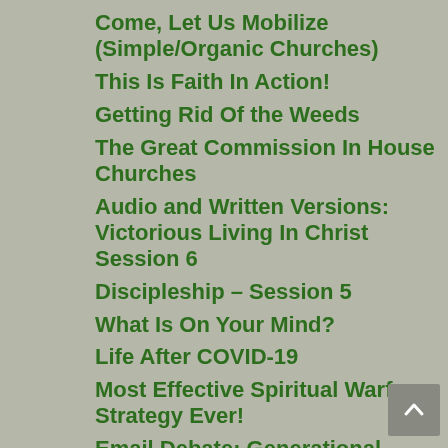Come, Let Us Mobilize (Simple/Organic Churches)
This Is Faith In Action!
Getting Rid Of the Weeds
The Great Commission In House Churches
Audio and Written Versions: Victorious Living In Christ Session 6
Discipleship – Session 5
What Is On Your Mind?
Life After COVID-19
Most Effective Spiritual Warfare Strategy Ever!
Email Debate: Generational Curses Part 3
The Powerful Ministry Of AA Allen!
How To Deal With Colors in Dreams and Visions